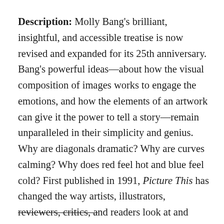Description: Molly Bang's brilliant, insightful, and accessible treatise is now revised and expanded for its 25th anniversary. Bang's powerful ideas—about how the visual composition of images works to engage the emotions, and how the elements of an artwork can give it the power to tell a story—remain unparalleled in their simplicity and genius. Why are diagonals dramatic? Why are curves calming? Why does red feel hot and blue feel cold? First published in 1991, Picture This has changed the way artists, illustrators, reviewers, critics, and readers look at and understand art.